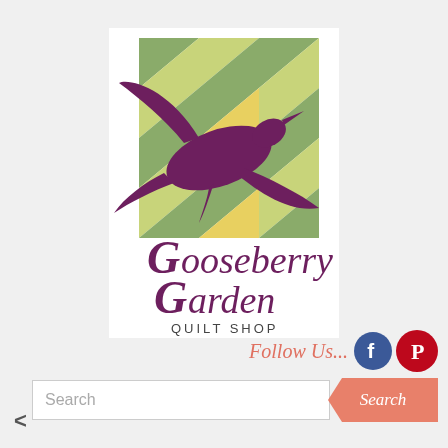[Figure (logo): Gooseberry Garden Quilt Shop logo featuring a purple goose silhouette flying over a patchwork quilt background of green and yellow triangles, with the shop name in purple/dark script below]
Follow Us...
[Figure (logo): Facebook circular icon (blue)]
[Figure (logo): Pinterest circular icon (red)]
Search
Search
<